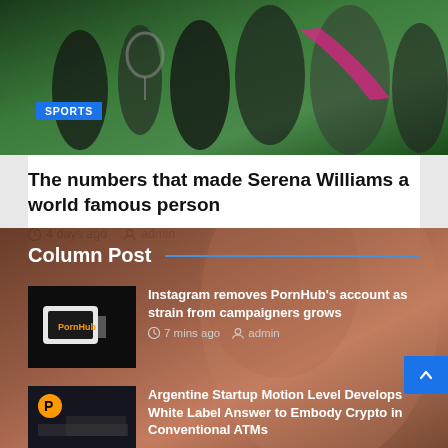[Figure (photo): Sports collage showing Serena Williams in various poses — black and white and color images on a green background]
The numbers that made Serena Williams a world famous person
4 days ago   admin
Column Post
[Figure (photo): Thumbnail of a hand holding a phone with PornHub logo]
Instagram removes PornHub's account as strain from campaigners grows
7 mins ago   admin
[Figure (photo): Thumbnail of a yellow PornHub logo on dark background with hands at keyboard]
Argentine Startup Motion Level Develops White Label Answer to Embody Crypto in Conventional ATMs